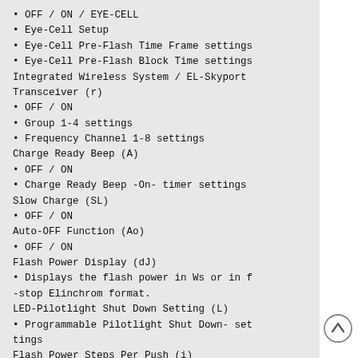• OFF / ON / EYE-CELL
• Eye-Cell Setup
• Eye-Cell Pre-Flash Time Frame settings
• Eye-Cell Pre-Flash Block Time settings
Integrated Wireless System / EL-Skyport Transceiver (r)
• OFF / ON
• Group 1-4 settings
• Frequency Channel 1-8 settings
Charge Ready Beep (A)
• OFF / ON
• Charge Ready Beep -On- timer settings
Slow Charge (SL)
• OFF / ON
Auto-OFF Function (Ao)
• OFF / ON
Flash Power Display (dJ)
• Displays the flash power in Ws or in f-stop Elinchrom format.
LED-Pilotlight Shut Down Setting (L)
• Programmable Pilotlight Shut Down- settings
Flash Power Steps Per Push (i)
• Change flash power in